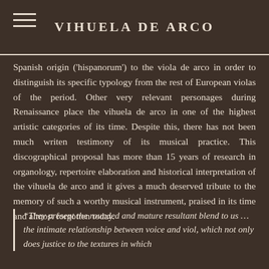VIHUELA DE ARCO
Spanish origin ('hispanorum') to the viola de arco in order to distinguish its specific typology from the rest of European violas of the period. Other very relevant personages during Renaissance place the vihuela de arco in one of the highest artistic categories of its time. Despite this, there has not been much writen testimony of its musical practice. This discographical proposal has more than 15 years of research in organology, repertoire elaboration and historical interpretation of the vihuela de arco and it gives a much deserved tribute to the memory of such a worthy musical instrument, praised in its time and almost forgotten today.
“They present the rounded and mature resultant blend to us … the intimate relationship between voice and viol, which not only does justice to the textures in which